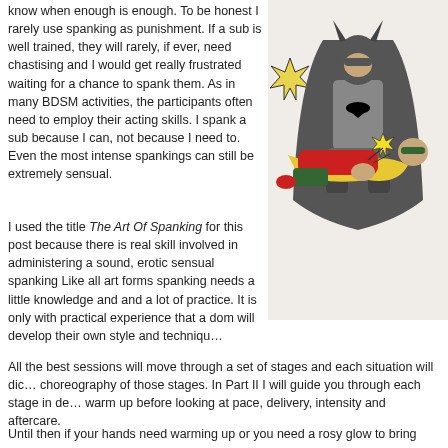know when enough is enough. To be honest I rarely use spanking as punishment. If a sub is well trained, they will rarely, if ever, need chastising and I would get really frustrated waiting for a chance to spank them. As in many BDSM activities, the participants often need to employ their acting skills. I spank a sub because I can, not because I need to. Even the most intense spankings can still be extremely sensual.
[Figure (illustration): Comic-style illustration of Batman spanking Robin, with a star-burst graphic effect.]
I used the title The Art Of Spanking for this post because there is real skill involved in administering a sound, erotic sensual spanking Like all art forms spanking needs a little knowledge and and a lot of practice. It is only with practical experience that a dom will develop their own style and techniqu…
All the best sessions will move through a set of stages and each situation will dic… choreography of those stages. In Part II I will guide you through each stage in de… warm up before looking at pace, delivery, intensity and aftercare.
Until then if your hands need warming up or you need a rosy glow to bring some…